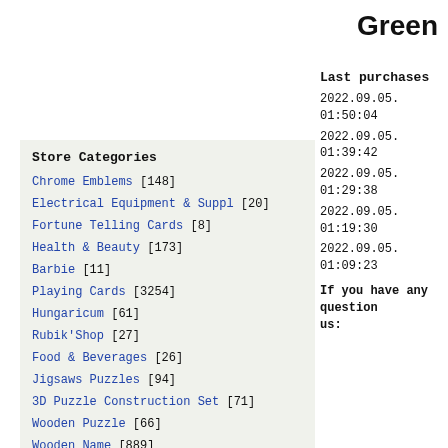Green
Store Categories
Chrome Emblems [148]
Electrical Equipment & Suppl [20]
Fortune Telling Cards [8]
Health & Beauty [173]
Barbie [11]
Playing Cards [3254]
Hungaricum [61]
Rubik'Shop [27]
Food & Beverages [26]
Jigsaws Puzzles [94]
3D Puzzle Construction Set [71]
Wooden Puzzle [66]
Wooden Name [889]
Last purchases
2022.09.05. 01:50:04
2022.09.05. 01:39:42
2022.09.05. 01:29:38
2022.09.05. 01:19:30
2022.09.05. 01:09:23
If you have any questions contact us: